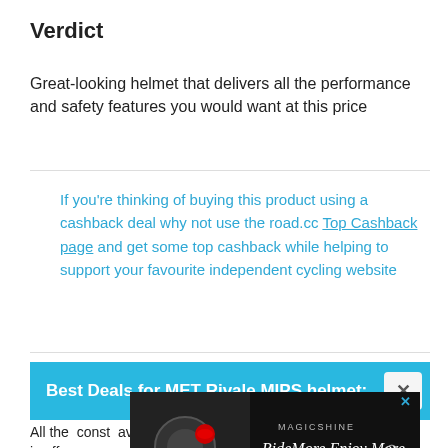Verdict
Great-looking helmet that delivers all the performance and safety features you would want at this price
If you're thinking of buying this product using a cashback deal why not use the road.cc Top Cashback page and get some top cashback while helping to support your favourite independent cycling website
Best Deals for MET Rivale MIPS helmet:
All the... const... availa... is offe... who